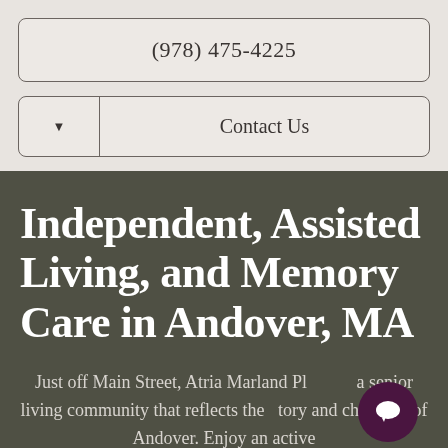(978) 475-4225
Contact Us
Independent, Assisted Living, and Memory Care in Andover, MA
Just off Main Street, Atria Marland Place is a senior living community that reflects the history and character of Andover. Enjoy an active